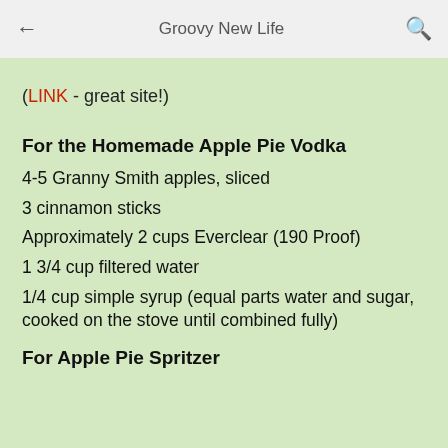Groovy New Life
(LINK - great site!)
For the Homemade Apple Pie Vodka
4-5 Granny Smith apples, sliced
3 cinnamon sticks
Approximately 2 cups Everclear (190 Proof)
1 3/4 cup filtered water
1/4 cup simple syrup (equal parts water and sugar, cooked on the stove until combined fully)
For Apple Pie Spritzer